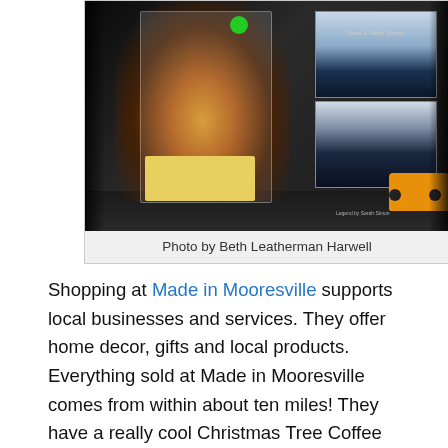[Figure (photo): Photo of items on a dark shelf including a CD case with a road/sunset image and green sticker dot, stacked books with blue/dark covers (David & Sarah Simon), a yellow label card, and a small orange toy bus. Photo by Beth Leatherman Harwell.]
Photo by Beth Leatherman Harwell
Shopping at Made in Mooresville supports local businesses and services. They offer home decor, gifts and local products. Everything sold at Made in Mooresville comes from within about ten miles! They have a really cool Christmas Tree Coffee and Paint scheduled for December 17.  That's a calm easy way for you to relax for yourself. Here's a photo of their books for